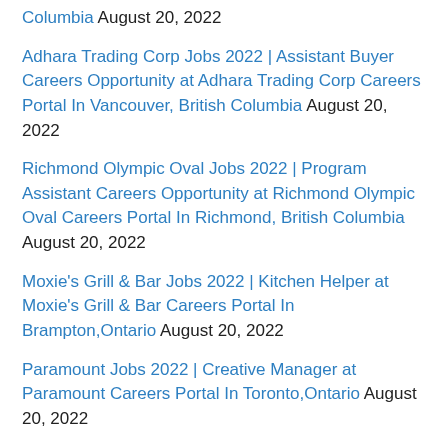Columbia August 20, 2022
Adhara Trading Corp Jobs 2022 | Assistant Buyer Careers Opportunity at Adhara Trading Corp Careers Portal In Vancouver, British Columbia August 20, 2022
Richmond Olympic Oval Jobs 2022 | Program Assistant Careers Opportunity at Richmond Olympic Oval Careers Portal In Richmond, British Columbia August 20, 2022
Moxie's Grill & Bar Jobs 2022 | Kitchen Helper at Moxie's Grill & Bar Careers Portal In Brampton,Ontario August 20, 2022
Paramount Jobs 2022 | Creative Manager at Paramount Careers Portal In Toronto,Ontario August 20, 2022
Charles River Laboratories Jobs 2022 |